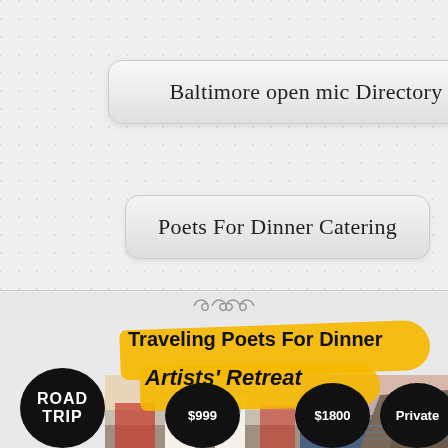Baltimore open mic Directory
Poets For Dinner Catering
[Figure (illustration): Decorative divider with swirl ornaments]
[Figure (infographic): Traveling Poets For Dinner Artists' Retreat promotional banner with yellow brush strokes, road trip badge, photos of buildings and cliffs, and price badges showing $999, $1800, and Private]